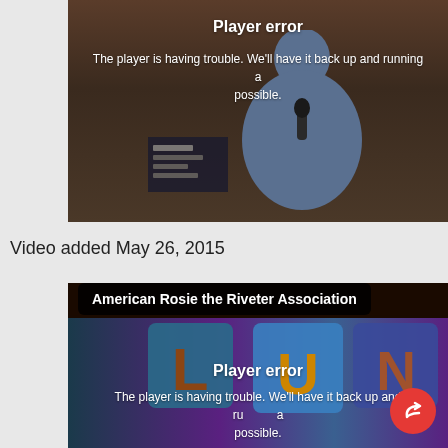[Figure (screenshot): Video player showing a person at a microphone with a 'Player error' overlay message. The video has a dark brownish background.]
Player error
The player is having trouble. We'll have it back up and running as soon as possible.
Video added May 26, 2015
[Figure (screenshot): Video player for 'American Rosie the Riveter Association' showing colorful food-letter tiles spelling LUNCH with a 'Player error' overlay message.]
American Rosie the Riveter Association
Player error
The player is having trouble. We'll have it back up and running as soon as possible.